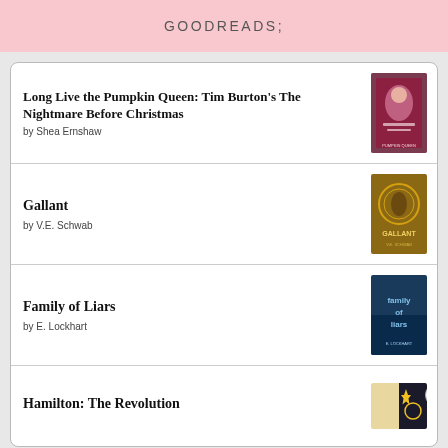GOODREADS;
Long Live the Pumpkin Queen: Tim Burton's The Nightmare Before Christmas by Shea Ernshaw
Gallant by V.E. Schwab
Family of Liars by E. Lockhart
Hamilton: The Revolution
Advertisements
[Figure (infographic): DuckDuckGo advertisement: Search, browse, and email with more privacy. All in One Free App. Shows a smartphone graphic and DuckDuckGo logo.]